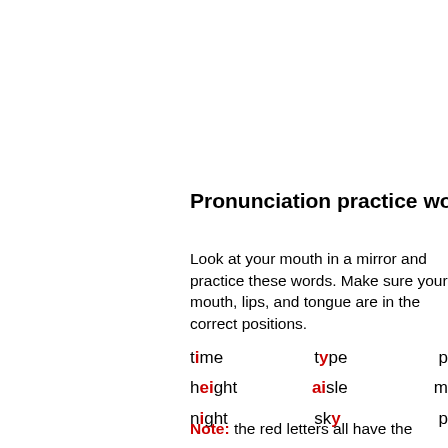Pronunciation practice words:
Look at your mouth in a mirror and practice these words. Make sure your mouth, lips, and tongue are in the correct positions.
time   type   p...
height   aisle   m...
night   sky   p...
Note: the red letters all have the same...